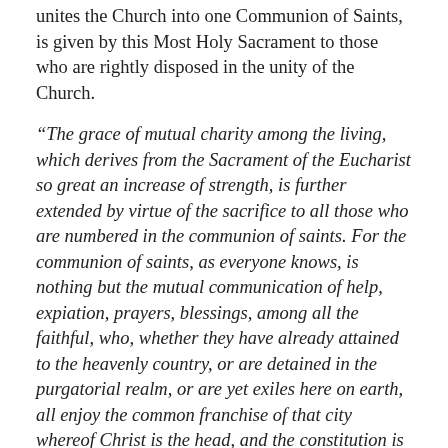unites the Church into one Communion of Saints, is given by this Most Holy Sacrament to those who are rightly disposed in the unity of the Church.
“The grace of mutual charity among the living, which derives from the Sacrament of the Eucharist so great an increase of strength, is further extended by virtue of the sacrifice to all those who are numbered in the communion of saints. For the communion of saints, as everyone knows, is nothing but the mutual communication of help, expiation, prayers, blessings, among all the faithful, who, whether they have already attained to the heavenly country, or are detained in the purgatorial realm, or are yet exiles here on earth, all enjoy the common franchise of that city whereof Christ is the head, and the constitution is charity...That genuine charity, therefore, which knows how to do and to suffer all things for the salvation and the benefit of all, leaps forth with all the heat and energy of a flame from that Most Holy Eucharist in which Christ Himself is present and lives, and in which He indulges to the